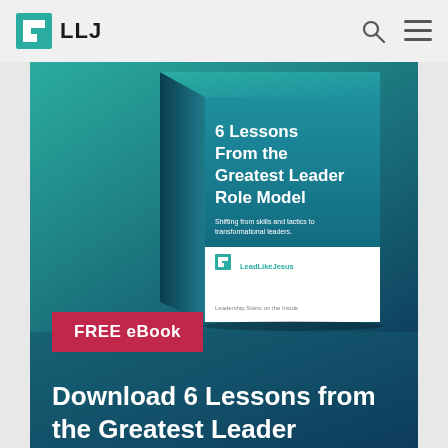[Figure (logo): LLJ Lead Like Jesus logo with teal square bracket icon and LLJ text]
[Figure (photo): Book cover titled '6 Lessons From the Greatest Leader Role Model' with subtitle 'Shifting from skills and tactics to transformational leaders.' and Lead Like Jesus branding, displayed on teal background]
FREE eBook
Download 6 Lessons from the Greatest Leader